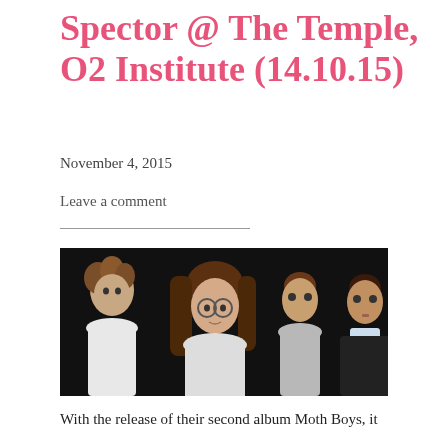Spector @ The Temple, O2 Institute (14.10.15)
November 4, 2015
Leave a comment
[Figure (photo): Band photo of Spector — four young men in white shirts and dark clothing posed against a dark background]
With the release of their second album Moth Boys, it